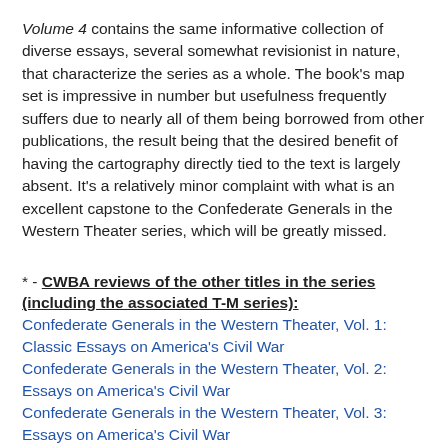Volume 4 contains the same informative collection of diverse essays, several somewhat revisionist in nature, that characterize the series as a whole. The book's map set is impressive in number but usefulness frequently suffers due to nearly all of them being borrowed from other publications, the result being that the desired benefit of having the cartography directly tied to the text is largely absent. It's a relatively minor complaint with what is an excellent capstone to the Confederate Generals in the Western Theater series, which will be greatly missed.
* - CWBA reviews of the other titles in the series (including the associated T-M series): Confederate Generals in the Western Theater, Vol. 1: Classic Essays on America's Civil War Confederate Generals in the Western Theater, Vol. 2: Essays on America's Civil War Confederate Generals in the Western Theater, Vol. 3: Essays on America's Civil War